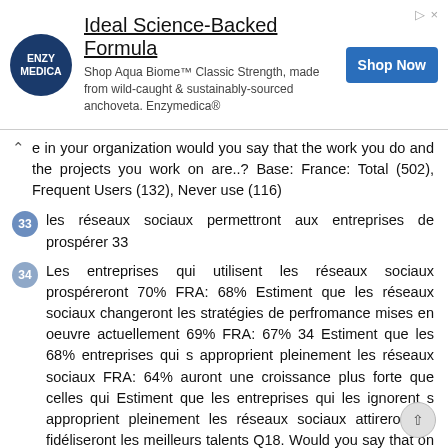[Figure (other): Advertisement banner for Enzymedica Aqua Biome Classic Strength supplement with logo, title 'Ideal Science-Backed Formula', subtitle text, and Shop Now button]
e in your organization would you say that the work you do and the projects you work on are..? Base: France: Total (502), Frequent Users (132), Never use (116)
33 les réseaux sociaux permettront aux entreprises de prospérer 33
34 Les entreprises qui utilisent les réseaux sociaux prospéreront 70% FRA: 68% Estiment que les réseaux sociaux changeront les stratégies de perfromance mises en oeuvre actuellement 69% FRA: 67% 34 Estiment que les 68% entreprises qui s approprient pleinement les réseaux sociaux FRA: 64% auront une croissance plus forte que celles qui Estiment que les entreprises qui les ignorent s approprient pleinement les réseaux sociaux attireront et fidéliseront les meilleurs talents Q18. Would you say that on balance? Base: All respondents (Europe 2,700 / France 502)